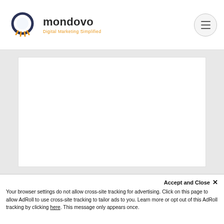[Figure (logo): Mondovo logo: circular icon with orange radiating lines below, dark blue ring, and the text 'mondovo' in dark gray with tagline 'Digital Marketing Simplified' in orange]
mondovo — Digital Marketing Simplified
Accept and Close ×
Your browser settings do not allow cross-site tracking for advertising. Click on this page to allow AdRoll to use cross-site tracking to tailor ads to you. Learn more or opt out of this AdRoll tracking by clicking here. This message only appears once.